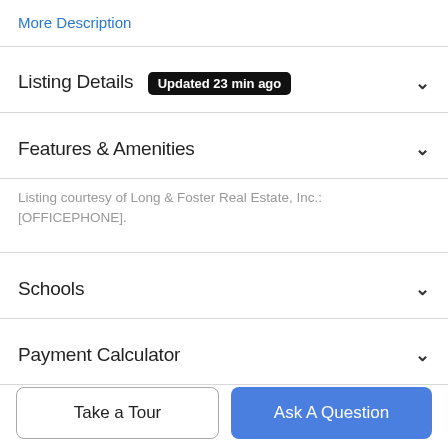More Description
Listing Details  Updated 23 min ago
Features & Amenities
Listing courtesy of Long & Foster Real Estate, Inc.: [OFFICEPHONE].
Schools
Payment Calculator
Contact Agent
Take a Tour
Ask A Question